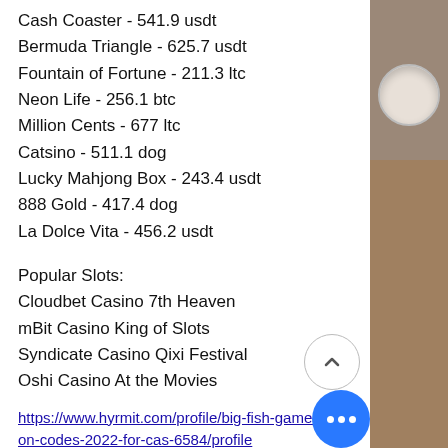Cash Coaster - 541.9 usdt
Bermuda Triangle - 625.7 usdt
Fountain of Fortune - 211.3 ltc
Neon Life - 256.1 btc
Million Cents - 677 ltc
Catsino - 511.1 dog
Lucky Mahjong Box - 243.4 usdt
888 Gold - 417.4 dog
La Dolce Vita - 456.2 usdt
Popular Slots:
Cloudbet Casino 7th Heaven
mBit Casino King of Slots
Syndicate Casino Qixi Festival
Oshi Casino At the Movies
https://www.hyrmit.com/profile/big-fish-games-coupon-codes-2022-for-cas-6584/profile
https://www.gurubhaktijyotish.org/profile/...